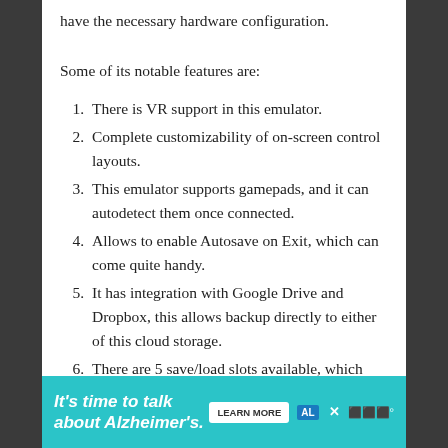have the necessary hardware configuration.
Some of its notable features are:
There is VR support in this emulator.
Complete customizability of on-screen control layouts.
This emulator supports gamepads, and it can autodetect them once connected.
Allows to enable Autosave on Exit, which can come quite handy.
It has integration with Google Drive and Dropbox, this allows backup directly to either of this cloud storage.
There are 5 save/load slots available, which
It's time to talk about Alzheimer's. LEARN MORE